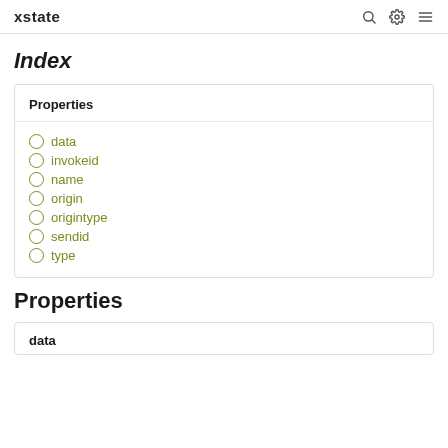xstate
Index
Properties
data
invokeid
name
origin
origintype
sendid
type
Properties
data